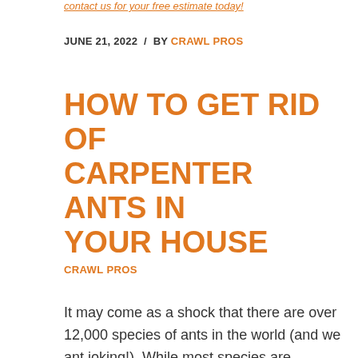contact us for your free estimate today!
JUNE 21, 2022  /  BY CRAWL PROS
HOW TO GET RID OF CARPENTER ANTS IN YOUR HOUSE
CRAWL PROS
It may come as a shock that there are over 12,000 species of ants in the world (and we ant joking!). While most species are harmless, there are a few species that can be destructive, especially to your home. Carpenter ants are one of those species